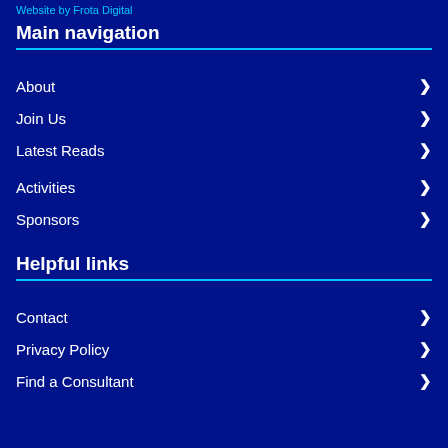Website by Frota Digital
Main navigation
About
Join Us
Latest Reads
Activities
Sponsors
Helpful links
Contact
Privacy Policy
Find a Consultant